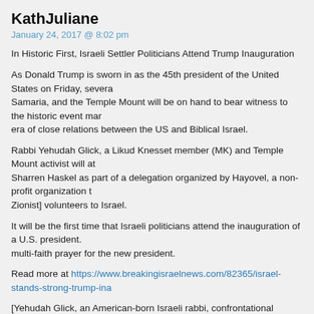KathJuliane
January 24, 2017 @ 8:02 pm
In Historic First, Israeli Settler Politicians Attend Trump Inauguration
As Donald Trump is sworn in as the 45th president of the United States on Friday, several politicians from Judea, Samaria, and the Temple Mount will be on hand to bear witness to the historic event marking what they hope will be a new era of close relations between the US and Biblical Israel.
Rabbi Yehudah Glick, a Likud Knesset member (MK) and Temple Mount activist will attend along with MK Sharren Haskel as part of a delegation organized by Hayovel, a non-profit organization that brings Christian [Christian Zionist] volunteers to Israel.
It will be the first time that Israeli politicians attend the inauguration of a U.S. president. They will also participate in a multi-faith prayer for the new president.
Read more at https://www.breakingisraelnews.com/82365/israel-stands-strong-trump-ina
[Yehudah Glick, an American-born Israeli rabbi, confrontational agitator for expanding Jewish access to the Noble Sanctuary and Muslim provocateur who routinely barges onto the mount's platform under the delusional belief that it is the Jewish temple mount.
The police have called Glick the most dangerous man in the Middle East. He has said [that] the Waqf's conduct keeping Jews off of the Noble Sanctuary could lead to Al-Aqsa's destruction. ( haaretz.com/israel-news/.premium-1.722528 )],
Breaking Israel News is apparently owned by one 'prophetic' Orthodox Jew and smarmy enough to have figured out how to bait Judeo-Christian Zionists with Kabbalah, Zoharism, Jewish bibli